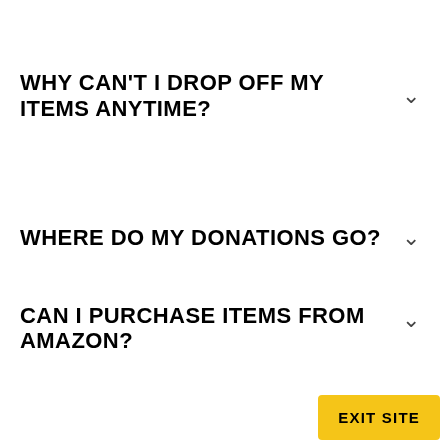WHY CAN'T I DROP OFF MY ITEMS ANYTIME?
WHERE DO MY DONATIONS GO?
CAN I PURCHASE ITEMS FROM AMAZON?
EXIT SITE